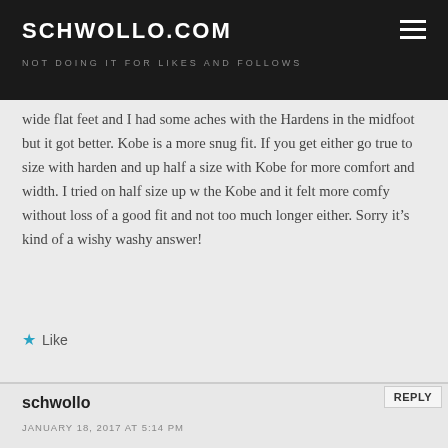SCHWOLLO.COM — NOT DOING IT FOR LIKES AND FOLLOWS
wide flat feet and I had some aches with the Hardens in the midfoot but it got better. Kobe is a more snug fit. If you get either go true to size with harden and up half a size with Kobe for more comfort and width. I tried on half size up w the Kobe and it felt more comfy without loss of a good fit and not too much longer either. Sorry it's kind of a wishy washy answer!
Like
schwollo
JANUARY 18, 2017 AT 5:14 PM
And congrats on still going strong at 47. I hope to do the same.